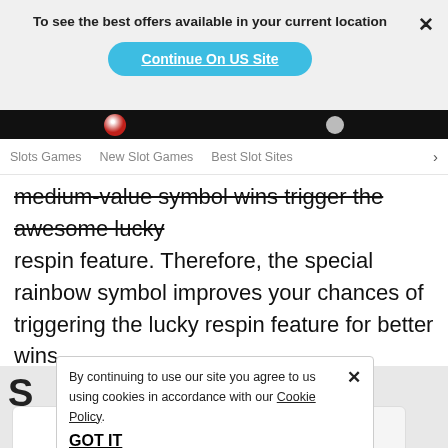To see the best offers available in your current location
Continue On US Site
Slots Games   New Slot Games   Best Slot Sites >
medium-value symbol wins trigger the awesome lucky respin feature. Therefore, the special rainbow symbol improves your chances of triggering the lucky respin feature for better wins.
By continuing to use our site you agree to us using cookies in accordance with our Cookie Policy.
GOT IT
Multipliers
Scatters